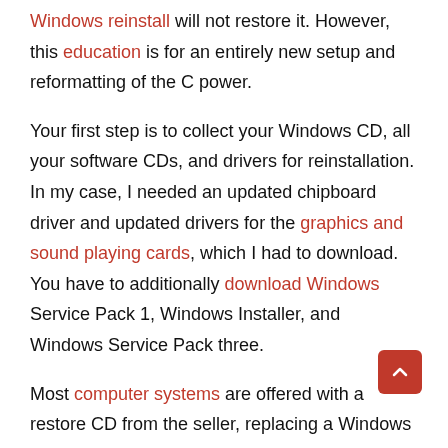Windows reinstall will not restore it. However, this education is for an entirely new setup and reformatting of the C power.
Your first step is to collect your Windows CD, all your software CDs, and drivers for reinstallation. In my case, I needed an updated chipboard driver and updated drivers for the graphics and sound playing cards, which I had to download. You have to additionally download Windows Service Pack 1, Windows Installer, and Windows Service Pack three.
Most computer systems are offered with a restore CD from the seller, replacing a Windows CD. Some supplier CDs provide you with all of the alternatives of a complete Windows CD, however with higher commands and the